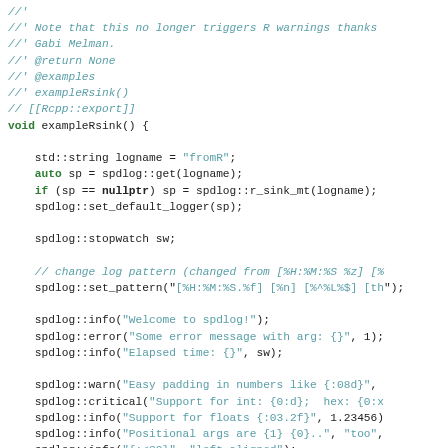Code snippet showing C++ spdlog usage with comments and function body